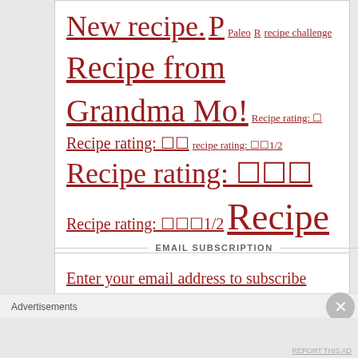New recipe. P Paleo R recipe challenge Recipe from Grandma Mo! Recipe rating: ☐ Recipe rating: ☐☐ recipe rating: ☐☐1/2 Recipe rating: ☐☐☐ Recipe rating: ☐☐☐1/2 Recipe rating: ☐☐☐☐ Recipe rating: ☐☐☐☐1/2 Recipe rating: ☐☐☐☐☐ Seasonal. spicy! V VG
EMAIL SUBSCRIPTION
Enter your email address to subscribe
Advertisements